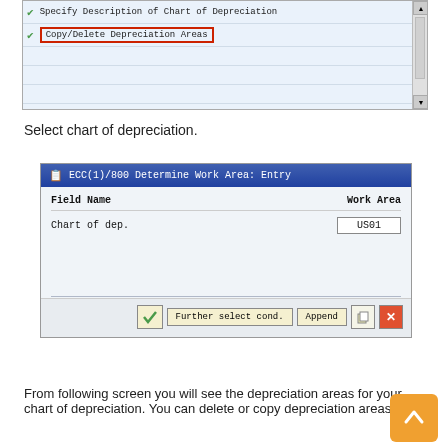[Figure (screenshot): SAP configuration screen showing list with checkmarks. 'Specify Description of Chart of Depreciation' row and 'Copy/Delete Depreciation Areas' row (highlighted with red border). Scrollbar on right.]
Select chart of depreciation.
[Figure (screenshot): SAP dialog box titled 'ECC(1)/800 Determine Work Area: Entry' with Field Name column showing 'Chart of dep.' and Work Area column showing input field with value 'US01'. Buttons: checkmark, Further select cond., Append, copy icon, X.]
From following screen you will see the depreciation areas for your chart of depreciation. You can delete or copy depreciation areas.